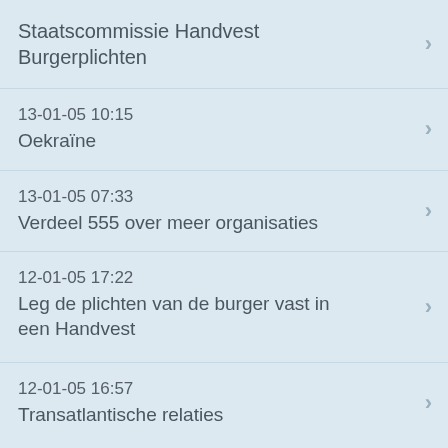Staatscommissie Handvest Burgerplichten
13-01-05 10:15
Oekraïne
13-01-05 07:33
Verdeel 555 over meer organisaties
12-01-05 17:22
Leg de plichten van de burger vast in een Handvest
12-01-05 16:57
Transatlantische relaties